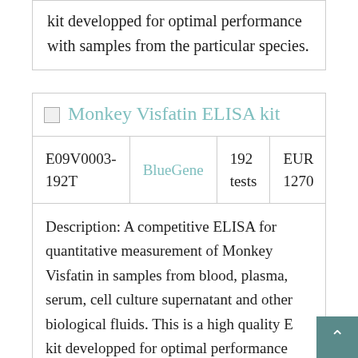kit developped for optimal performance with samples from the particular species.
Monkey Visfatin ELISA kit
| E09V0003-192T | BlueGene | 192 tests | EUR 1270 |
Description: A competitive ELISA for quantitative measurement of Monkey Visfatin in samples from blood, plasma, serum, cell culture supernatant and other biological fluids. This is a high quality E kit developped for optimal performance